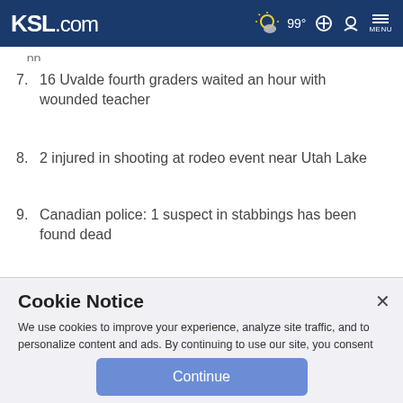KSL.com — 99° weather, search, account, menu
7. 16 Uvalde fourth graders waited an hour with wounded teacher
8. 2 injured in shooting at rodeo event near Utah Lake
9. Canadian police: 1 suspect in stabbings has been found dead
Cookie Notice
We use cookies to improve your experience, analyze site traffic, and to personalize content and ads. By continuing to use our site, you consent to our use of cookies. Please visit our Terms of Use and Privacy Policy for more information.
Continue